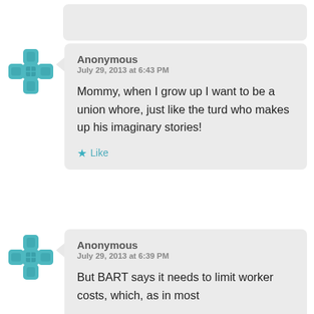[partial comment bubble stub at top]
Anonymous
July 29, 2013 at 6:43 PM

Mommy, when I grow up I want to be a union whore, just like the turd who makes up his imaginary stories!

★ Like
Anonymous
July 29, 2013 at 6:39 PM

But BART says it needs to limit worker costs, which, as in most